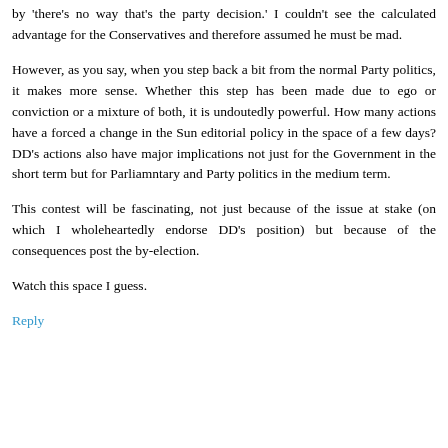by 'there's no way that's the party decision.' I couldn't see the calculated advantage for the Conservatives and therefore assumed he must be mad.
However, as you say, when you step back a bit from the normal Party politics, it makes more sense. Whether this step has been made due to ego or conviction or a mixture of both, it is undoutedly powerful. How many actions have a forced a change in the Sun editorial policy in the space of a few days? DD's actions also have major implications not just for the Government in the short term but for Parliamntary and Party politics in the medium term.
This contest will be fascinating, not just because of the issue at stake (on which I wholeheartedly endorse DD's position) but because of the consequences post the by-election.
Watch this space I guess.
Reply